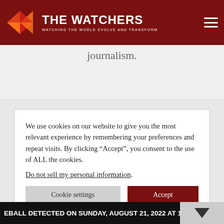THE WATCHERS — WATCHING THE WORLD EVOLVE AND TRANSFORM
journalism.
We use cookies on our website to give you the most relevant experience by remembering your preferences and repeat visits. By clicking “Accept”, you consent to the use of ALL the cookies.
Do not sell my personal information.
Cookie settings   Accept
EBALL DETECTED ON SUNDAY, AUGUST 21, 2022 AT 16:35 UT